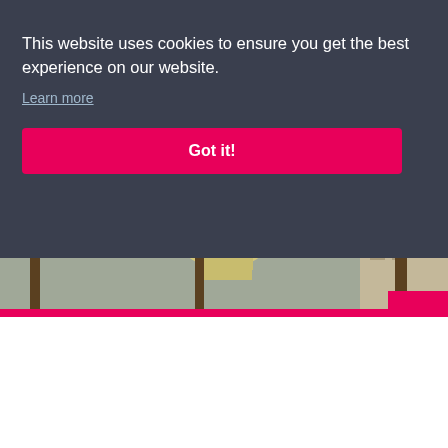My Guide Albania — navigation header with hamburger menu, logo, search and user icons
Albania > Experiences > Apollonia and Durres
Filter Experiences in Albania
[Figure (photo): Outdoor photo showing palm trees and a mosque with minaret against a cloudy sky, with buildings visible in background]
This website uses cookies to ensure you get the best experience on our website. Learn more
Got it!